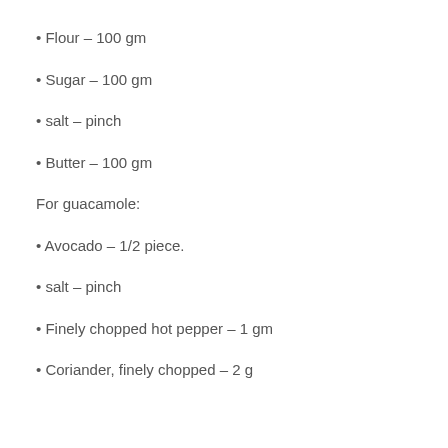Flour – 100 gm
Sugar – 100 gm
salt – pinch
Butter – 100 gm
For guacamole:
Avocado – 1/2 piece.
salt – pinch
Finely chopped hot pepper – 1 gm
Coriander, finely chopped – 2 g